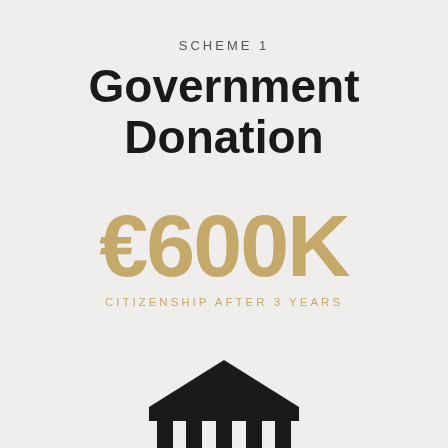SCHEME 1
Government Donation
€600K
CITIZENSHIP AFTER 3 YEARS
[Figure (illustration): A black icon of a classical government building (bank/institution) with columns and a triangular pediment, rendered as a simple flat icon]